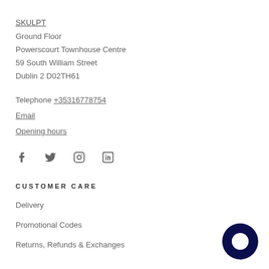SKULPT
Ground Floor
Powerscourt Townhouse Centre
59 South William Street
Dublin 2 D02TH61
Telephone +35316778754
Email
Opening hours
[Figure (infographic): Social media icons: Facebook, Twitter, Instagram, LinkedIn]
CUSTOMER CARE
Delivery
Promotional Codes
Returns, Refunds & Exchanges
[Figure (illustration): Dark navy blue chat bubble / message icon circle in bottom right]